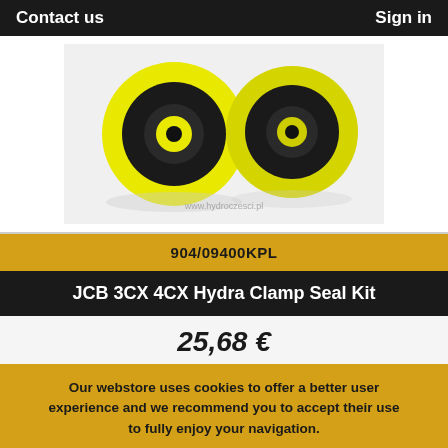Contact us    Sign in
[Figure (photo): Two yellow and black hydraulic seal rings (hydra clamp seals) on a white background with watermark www.hydroczes​ci.pl]
904/09400KPL
JCB 3CX 4CX Hydra Clamp Seal Kit
25,68 €
Our webstore uses cookies to offer a better user experience and we recommend you to accept their use to fully enjoy your navigation.
Accept   More info   Reject